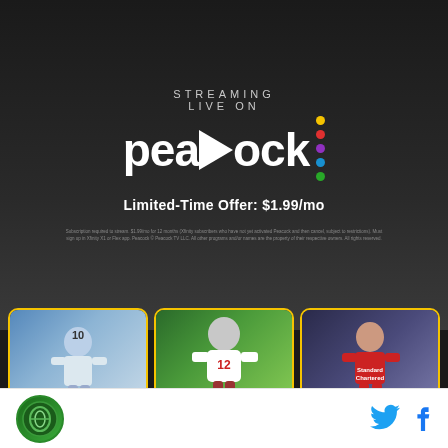[Figure (infographic): Peacock streaming service advertisement. Dark background with 'STREAMING LIVE ON' text above Peacock logo with colorful dots. Limited-Time Offer: $1.99/mo. Three sport cards below: Copa Mundial de la FIFA, Sunday Night Football, Premier League.]
STREAMING LIVE ON
[Figure (logo): Peacock logo - white text 'peacock' with play button arrow replacing 'c', and vertical column of colored dots (yellow, red, purple, blue, green)]
Limited-Time Offer: $1.99/mo
Copa Mundial de la FIFA™
Sunday Night Football
Premier League
[Figure (logo): Organization logo - circular green logo in footer]
[Figure (other): Twitter bird icon in blue]
[Figure (other): Facebook f icon in blue]